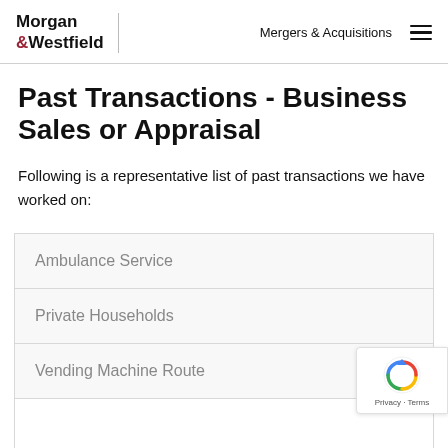Morgan & Westfield | Mergers & Acquisitions
Past Transactions - Business Sales or Appraisal
Following is a representative list of past transactions we have worked on:
Ambulance Service
Private Households
Vending Machine Route